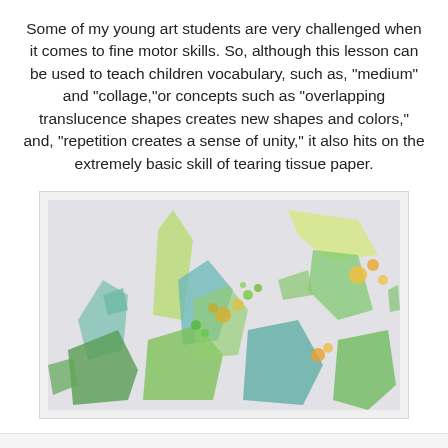Some of my young art students are very challenged when it comes to fine motor skills. So, although this lesson can be used to teach children vocabulary, such as, "medium" and "collage,"or concepts such as "overlapping translucence shapes creates new shapes and colors," and, "repetition creates a sense of unity," it also hits on the extremely basic skill of tearing tissue paper.
[Figure (photo): A photo of torn tissue paper collage artwork featuring overlapping pieces of green, teal, and yellow-orange tissue paper arranged in a scattered pattern against a light background, with circular dot shapes visible among the torn pieces.]